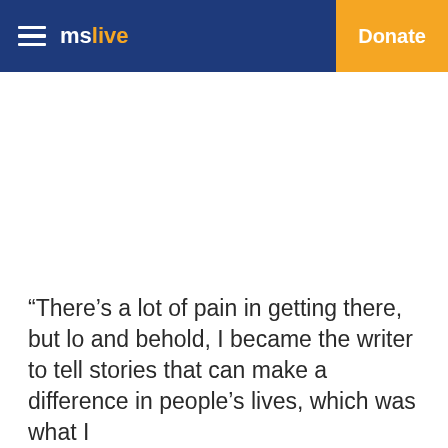mslive | Donate
“There’s a lot of pain in getting there, but lo and behold, I became the writer to tell stories that can make a difference in people’s lives, which was what I